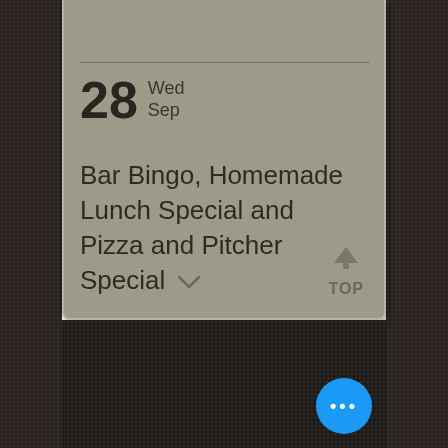28 Wed Sep
Bar Bingo, Homemade Lunch Special and Pizza and Pitcher Special
© 2018-2022 by Mill Dam Corner Grille. Designed and Maintained by C. Owens